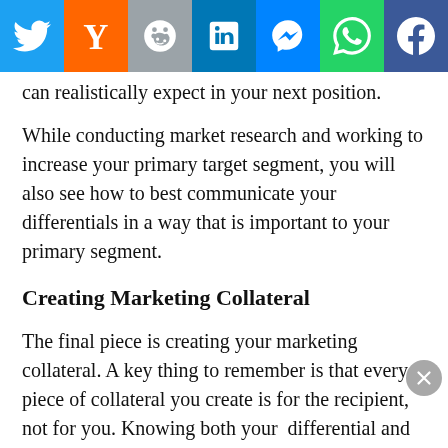[Figure (other): Social media share bar with icons: Twitter (blue), Y Combinator/Hacker News (orange), Reddit (grey-blue), LinkedIn (blue), Messenger (blue), WhatsApp (green), Facebook (dark blue)]
can realistically expect in your next position.
While conducting market research and working to increase your primary target segment, you will also see how to best communicate your differentials in a way that is important to your primary segment.
Creating Marketing Collateral
The final piece is creating your marketing collateral. A key thing to remember is that every piece of collateral you create is for the recipient, not for you. Knowing both your  differential and the business needs of your primary target, it is your responsibility to  prioritize and present the information in a way that best meets the needs of the majority of primary target employers. Correctly applied